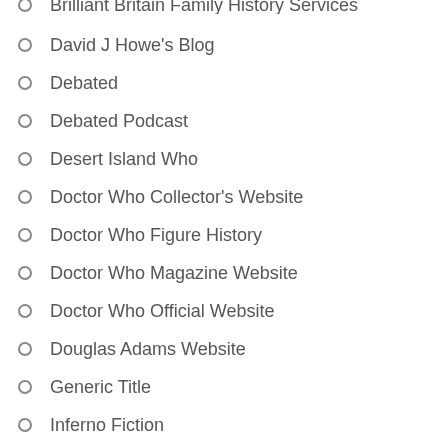Brilliant Britain Family History Services
David J Howe's Blog
Debated
Debated Podcast
Desert Island Who
Doctor Who Collector's Website
Doctor Who Figure History
Doctor Who Magazine Website
Doctor Who Official Website
Douglas Adams Website
Generic Title
Inferno Fiction
Learn WordPress.com
Loony Literature
Mill's Miscellany
Nicholas Brigg's Official Website
Oyster Card Junkie
Patreon